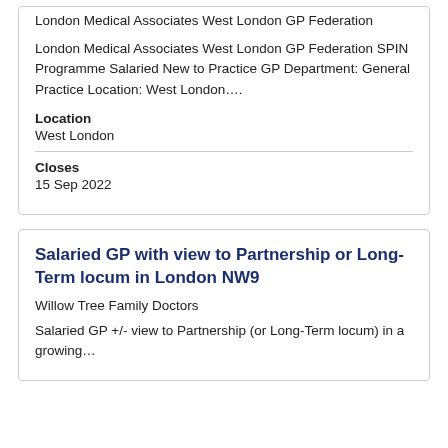London Medical Associates West London GP Federation
London Medical Associates West London GP Federation SPIN Programme Salaried New to Practice GP Department: General Practice Location: West London….
Location
West London
Closes
15 Sep 2022
Salaried GP with view to Partnership or Long-Term locum in London NW9
Willow Tree Family Doctors
Salaried GP +/- view to Partnership (or Long-Term locum) in a growing…